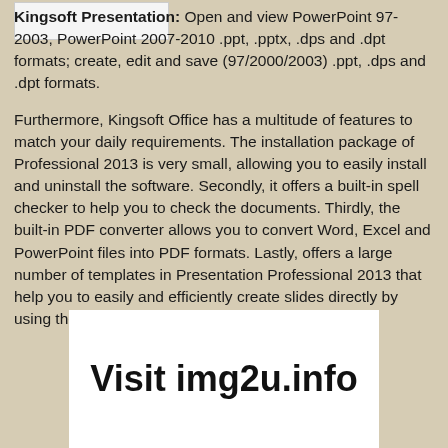Kingsoft Presentation: Open and view PowerPoint 97-2003, PowerPoint 2007-2010 .ppt, .pptx, .dps and .dpt formats; create, edit and save (97/2000/2003) .ppt, .dps and .dpt formats.
Furthermore, Kingsoft Office has a multitude of features to match your daily requirements. The installation package of Professional 2013 is very small, allowing you to easily install and uninstall the software. Secondly, it offers a built-in spell checker to help you to check the documents. Thirdly, the built-in PDF converter allows you to convert Word, Excel and PowerPoint files into PDF formats. Lastly, offers a large number of templates in Presentation Professional 2013 that help you to easily and efficiently create slides directly by using these templates.
[Figure (other): White box with bold text 'Visit img2u.info']